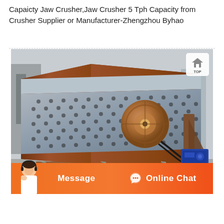Capaicty Jaw Crusher,Jaw Crusher 5 Tph Capacity from Crusher Supplier or Manufacturer-Zhengzhou Byhao
[Figure (photo): Industrial vibrating screen / jaw crusher machine shown in a factory/outdoor setting. The machine is a large rectangular inclined screening unit with a perforated metal deck, rust-colored steel frame and side panels, a large circular flywheel in the center-right, a blue electric motor at the bottom right, and spring mounts at the base. Background shows industrial equipment and structures.]